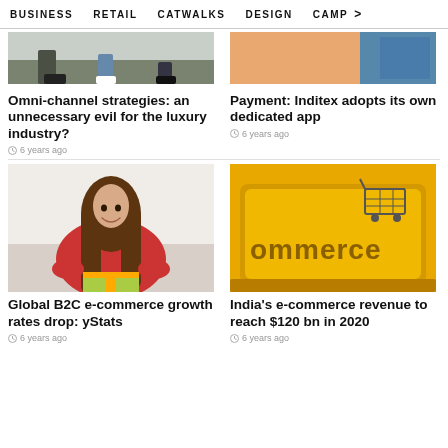BUSINESS  RETAIL  CATWALKS  DESIGN  CAMP >
[Figure (photo): Partial top image strip - left photo showing people feet/shoes outdoors]
[Figure (photo): Partial top image strip - right photo showing orange/peach background]
Omni-channel strategies: an unnecessary evil for the luxury industry?
6 years ago
Payment: Inditex adopts its own dedicated app
6 years ago
[Figure (photo): Young woman with long brown hair in red top smiling and looking down at gifts]
[Figure (photo): Yellow keyboard key with the word commerce printed on it and a shopping cart icon]
Global B2C e-commerce growth rates drop: yStats
6 years ago
India's e-commerce revenue to reach $120 bn in 2020
6 years ago